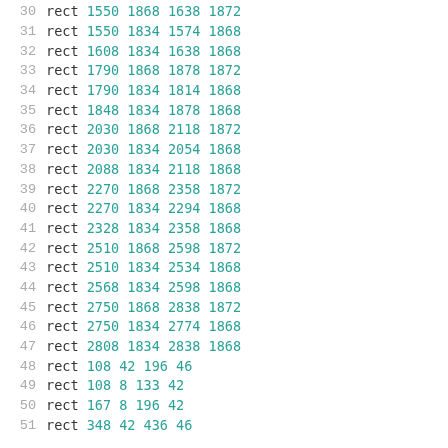| line | command | args |
| --- | --- | --- |
| 30 | rect | 1550 1868 1638 1872 |
| 31 | rect | 1550 1834 1574 1868 |
| 32 | rect | 1608 1834 1638 1868 |
| 33 | rect | 1790 1868 1878 1872 |
| 34 | rect | 1790 1834 1814 1868 |
| 35 | rect | 1848 1834 1878 1868 |
| 36 | rect | 2030 1868 2118 1872 |
| 37 | rect | 2030 1834 2054 1868 |
| 38 | rect | 2088 1834 2118 1868 |
| 39 | rect | 2270 1868 2358 1872 |
| 40 | rect | 2270 1834 2294 1868 |
| 41 | rect | 2328 1834 2358 1868 |
| 42 | rect | 2510 1868 2598 1872 |
| 43 | rect | 2510 1834 2534 1868 |
| 44 | rect | 2568 1834 2598 1868 |
| 45 | rect | 2750 1868 2838 1872 |
| 46 | rect | 2750 1834 2774 1868 |
| 47 | rect | 2808 1834 2838 1868 |
| 48 | rect | 108 42 196 46 |
| 49 | rect | 108 8 133 42 |
| 50 | rect | 167 8 196 42 |
| 51 | rect | 348 42 436 46 |